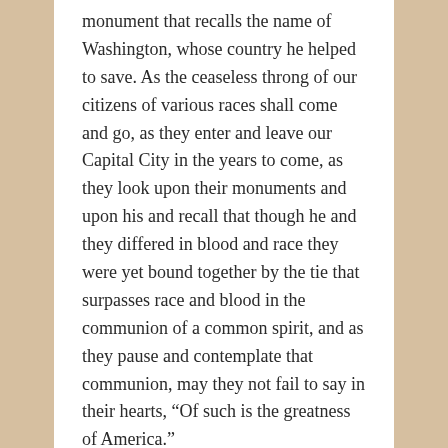monument that recalls the name of Washington, whose country he helped to save. As the ceaseless throng of our citizens of various races shall come and go, as they enter and leave our Capital City in the years to come, as they look upon their monuments and upon his and recall that though he and they differed in blood and race they were yet bound together by the tie that surpasses race and blood in the communion of a common spirit, and as they pause and contemplate that communion, may they not fail to say in their hearts, “Of such is the greatness of America.”
Citation: Foundations of the Republic
The Coolidge Foundation gratefully acknowledges the volunteer efforts of Many